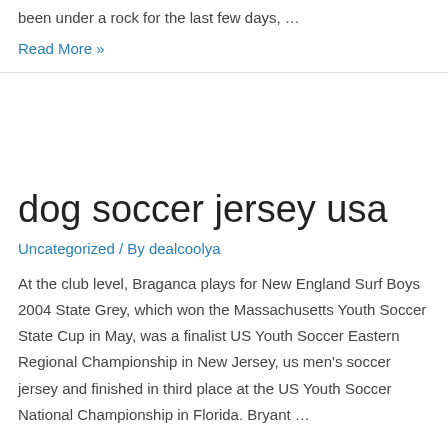been under a rock for the last few days, …
Read More »
dog soccer jersey usa
Uncategorized / By dealcoolya
At the club level, Braganca plays for New England Surf Boys 2004 State Grey, which won the Massachusetts Youth Soccer State Cup in May, was a finalist US Youth Soccer Eastern Regional Championship in New Jersey, us men's soccer jersey and finished in third place at the US Youth Soccer National Championship in Florida. Bryant …
Read More »